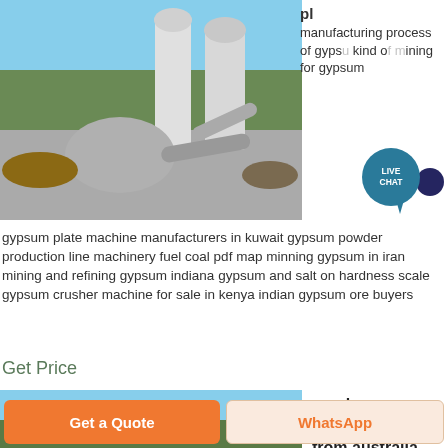[Figure (photo): Industrial gypsum milling equipment with silos and cyclone separators outdoors]
manufacturing process of gypsum kind of mining for gypsum
gypsum plate machine manufacturers in kuwait gypsum powder production line machinery fuel coal pdf map minning gypsum in iran mining and refining gypsum indiana gypsum and salt on hardness scale gypsum crusher machine for sale in kenya indian gypsum ore buyers
Get Price
[Figure (photo): Gypsum quarry site with building structures and excavated terrain]
crush gypsum buying orders from australia mine quarry
Get a Quote
WhatsApp